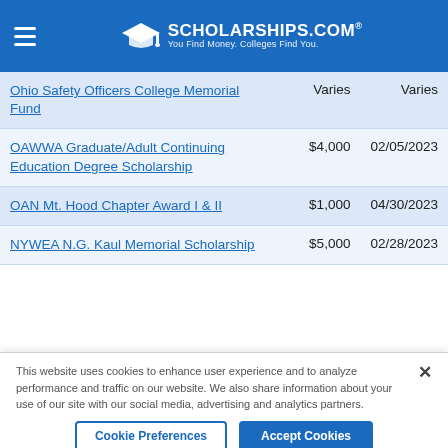SCHOLARSHIPS.COM — You Find Money. Colleges Find You.
| Scholarship Name | Amount | Deadline |
| --- | --- | --- |
| Ohio Safety Officers College Memorial Fund | Varies | Varies |
| OAWWA Graduate/Adult Continuing Education Degree Scholarship | $4,000 | 02/05/2023 |
| OAN Mt. Hood Chapter Award I & II | $1,000 | 04/30/2023 |
| NYWEA N.G. Kaul Memorial Scholarship | $5,000 | 02/28/2023 |
This website uses cookies to enhance user experience and to analyze performance and traffic on our website. We also share information about your use of our site with our social media, advertising and analytics partners.
Cookie Preferences | Accept Cookies